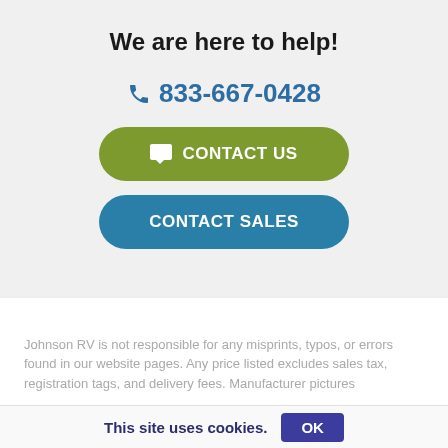We are here to help!
833-667-0428
CONTACT US
CONTACT SALES
Johnson RV is not responsible for any misprints, typos, or errors found in our website pages. Any price listed excludes sales tax, registration tags, and delivery fees. Manufacturer pictures
This site uses cookies.  OK